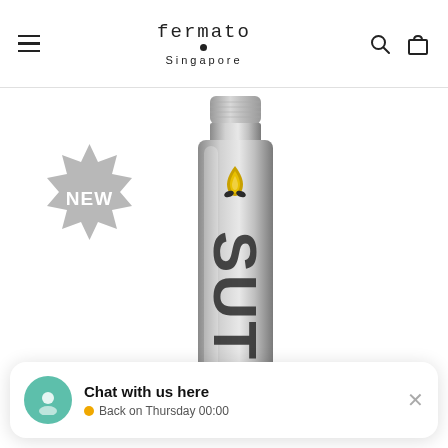fermato Singapore — navigation header with hamburger menu, logo, search and bag icons
[Figure (photo): Silver aluminum bottle with 'SUTL' branding and a flame logo, shown standing upright on white background. A gray starburst/badge with text 'NEW' is overlaid in the upper-left area of the product image.]
Chat with us here
Back on Thursday 00:00